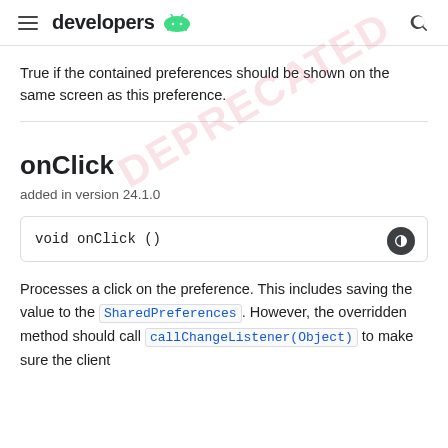developers [Android logo]
True if the contained preferences should be shown on the same screen as this preference.
onClick
added in version 24.1.0
void onClick ()
Processes a click on the preference. This includes saving the value to the SharedPreferences. However, the overridden method should call callChangeListener(Object) to make sure the client